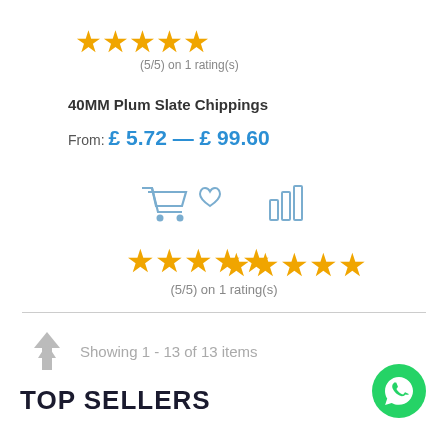[Figure (other): 5 gold stars rating display]
(5/5) on 1 rating(s)
40MM Plum Slate Chippings
From: £ 5.72 — £ 99.60
[Figure (other): Shopping cart, heart/wishlist, and bar chart icons]
[Figure (other): 5 gold stars rating display]
(5/5) on 1 rating(s)
Showing 1 - 13 of 13 items
TOP SELLERS
[Figure (other): WhatsApp contact button (green circle with phone icon)]